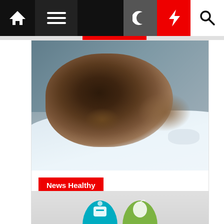Navigation bar with home, menu, dark mode, breaking news (lightning), and search icons
[Figure (photo): Man sleeping on pillow, close-up of face with eyes closed, gray/blue tones]
News Healthy
Wholesome way of life proven to lower dementia danger as much as 36 p.c: research
3 days ago
[Figure (infographic): Health infographic showing teal semicircle with glucose meter icon and green semicircle with apple/food icon, partially visible at bottom of page]